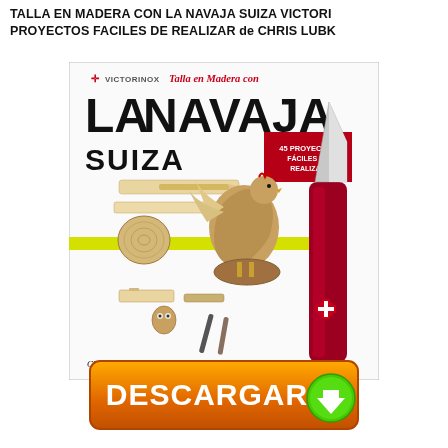TALLA EN MADERA CON LA NAVAJA SUIZA VICTORINOX 45 PROYECTOS FACILES DE REALIZAR de CHRIS LUBKEMANN
[Figure (photo): Book cover of 'Talla en Madera con la Navaja Suiza' by Chris Lubkemann, published with Victorinox branding. Shows carved wooden figures including a rooster, wood planks, wood slices, small carved items, and a Swiss army knife on a white background with green stripe accent and red badge reading '45 PROYECTOS FACILES DE REALIZAR'.]
[Figure (other): Orange download button labeled 'DESCARGAR' with a green download arrow icon on the right.]